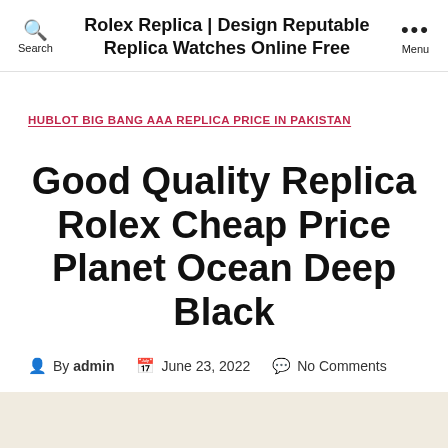Rolex Replica | Design Reputable Replica Watches Online Free
HUBLOT BIG BANG AAA REPLICA PRICE IN PAKISTAN
Good Quality Replica Rolex Cheap Price Planet Ocean Deep Black
By admin   June 23, 2022   No Comments